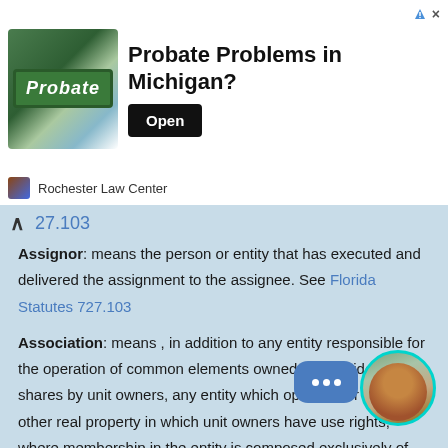[Figure (screenshot): Advertisement banner for Rochester Law Center: Probate Problems in Michigan? with Open button]
↑ 27.103
Assignor: means the person or entity that has executed and delivered the assignment to the assignee. See Florida Statutes 727.103
Association: means , in addition to any entity responsible for the operation of common elements owned in undivided shares by unit owners, any entity which operates or maintains other real property in which unit owners have use rights, where membership in the entity is composed exclusively of unit owners or their elected or appointed representatives and is a required condition of unit ownership. See Florida Statutes 718.103
Association: means the corporation for profit or not for